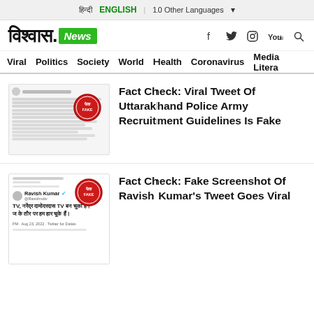हिन्दी   ENGLISH   10 Other Languages
[Figure (logo): विश्वास.News logo with green News badge and social icons (Facebook, Twitter, Instagram, YouTube, Search)]
Viral  Politics  Society  World  Health  Coronavirus  Media Litera
[Figure (screenshot): Screenshot of Uttarakhand Police tweet with red FAKE stamp overlay]
Fact Check: Viral Tweet Of Uttarakhand Police Army Recruitment Guidelines Is Fake
[Figure (screenshot): Screenshot of Ravish Kumar tweet with red FAKE stamp overlay. Tweet text reads: TV, नरेंद्र दामोदरदास TV बन चुका है। ज के तौर पर हम हार चूके हैं। PM · Aug 23, 2022 · Twitter for Dalais]
Fact Check: Fake Screenshot Of Ravish Kumar's Tweet Goes Viral